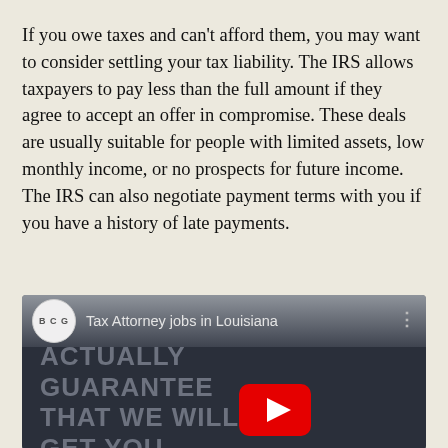If you owe taxes and can't afford them, you may want to consider settling your tax liability. The IRS allows taxpayers to pay less than the full amount if they agree to accept an offer in compromise. These deals are usually suitable for people with limited assets, low monthly income, or no prospects for future income. The IRS can also negotiate payment terms with you if you have a history of late payments.
[Figure (screenshot): YouTube video thumbnail for 'Tax Attorney jobs in Louisiana' by BCG, showing text overlay reading 'ACTUALLY GUARANTEE THAT WE WILL GET YOU' with a YouTube play button]